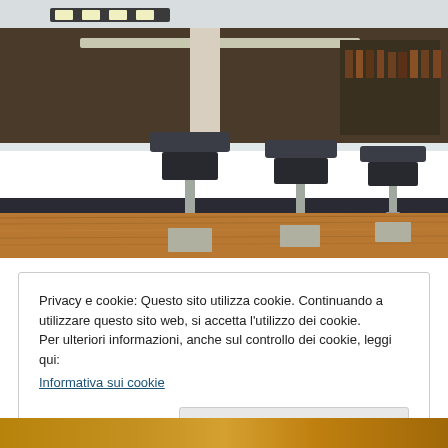[Figure (photo): Interior photo of a modern bar/restaurant with a long white counter, dark wood accents, bar stools with dark upholstery on metal pedestals, warm wooden floor, recessed ceiling lights, and shelves with bottles in the background.]
Privacy e cookie: Questo sito utilizza cookie. Continuando a utilizzare questo sito web, si accetta l'utilizzo dei cookie.
Per ulteriori informazioni, anche sul controllo dei cookie, leggi qui:
Informativa sui cookie
Chiudi e accetta
[Figure (photo): Partial photo visible at the bottom of the page showing a warm golden/amber toned interior scene.]